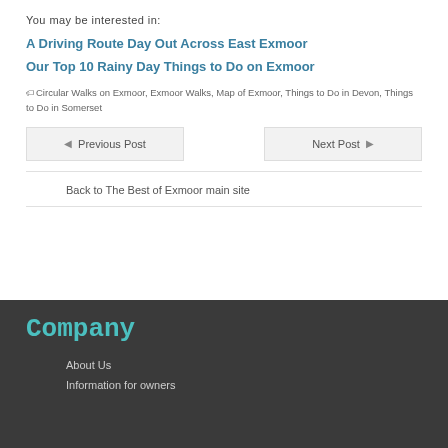You may be interested in:
A Driving Route Day Out Across East Exmoor
Our Top 10 Rainy Day Things to Do on Exmoor
Circular Walks on Exmoor, Exmoor Walks, Map of Exmoor, Things to Do in Devon, Things to Do in Somerset
◄ Previous Post
Next Post ►
Back to The Best of Exmoor main site
Company
About Us
Information for owners